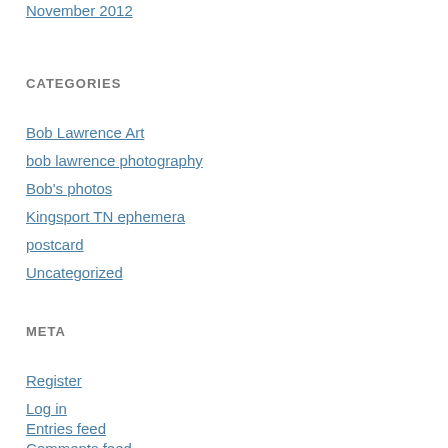November 2012
CATEGORIES
Bob Lawrence Art
bob lawrence photography
Bob's photos
Kingsport TN ephemera
postcard
Uncategorized
META
Register
Log in
Entries feed
Comments feed